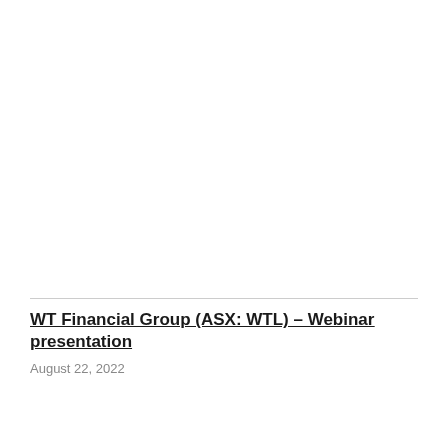WT Financial Group (ASX: WTL) – Webinar presentation
August 22, 2022